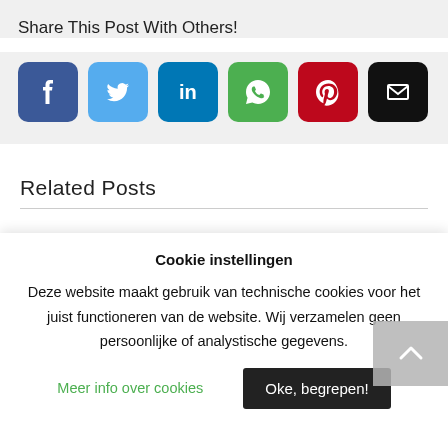Share This Post With Others!
[Figure (infographic): Social share buttons: Facebook (blue), Twitter (light blue), LinkedIn (dark blue), WhatsApp (green), Pinterest (red), Email (black)]
Related Posts
Cookie instellingen
Deze website maakt gebruik van technische cookies voor het juist functioneren van de website. Wij verzamelen geen persoonlijke of analystische gegevens.
Meer info over cookies
Oke, begrepen!